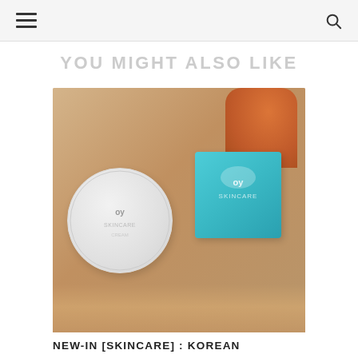YOU MIGHT ALSO LIKE
[Figure (photo): A white round skincare product container lid and a teal/turquoise square skincare product box sitting on a wooden surface, blurred warm background with orange chair.]
NEW-IN [SKINCARE] : KOREAN